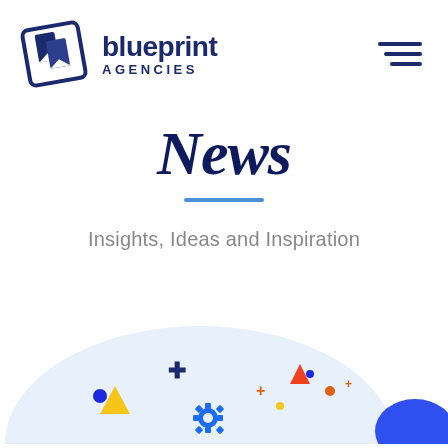[Figure (logo): Blueprint Agencies logo: a white square with a tilted dark blue bookmark/card icon on the left, with text 'blueprint AGENCIES' to the right in dark navy. A hamburger menu icon (three horizontal lines) on the far right.]
News
Insights, Ideas and Inspiration
[Figure (illustration): Decorative illustration at the bottom of the page showing a light blue circular background with colorful geometric shapes (triangles, crosses, circles in yellow, blue, red, orange) and a blue gear/cog icon visible in the lower portion. A solid blue shape visible at the far right.]